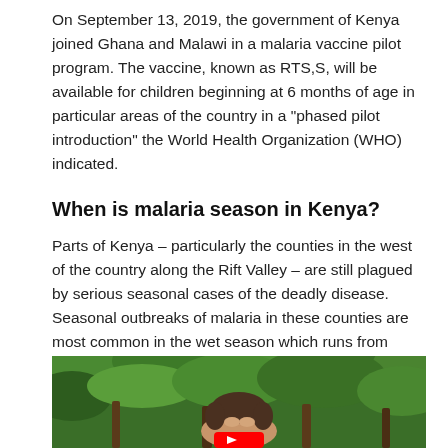On September 13, 2019, the government of Kenya joined Ghana and Malawi in a malaria vaccine pilot program. The vaccine, known as RTS,S, will be available for children beginning at 6 months of age in particular areas of the country in a "phased pilot introduction" the World Health Organization (WHO) indicated.
When is malaria season in Kenya?
Parts of Kenya – particularly the counties in the west of the country along the Rift Valley – are still plagued by serious seasonal cases of the deadly disease. Seasonal outbreaks of malaria in these counties are most common in the wet season which runs from March to June and then again from October to December.
[Figure (photo): A young woman outdoors surrounded by green trees, with a YouTube play button overlay in the bottom center.]